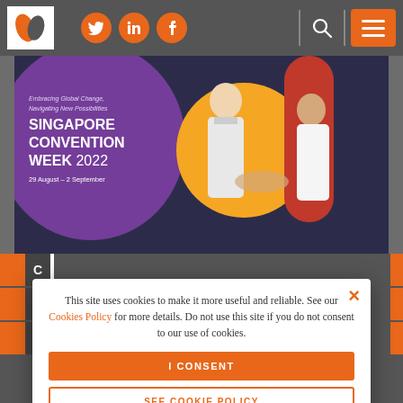Website header with logo, social icons (Twitter, LinkedIn, Facebook), search, and menu
[Figure (photo): Singapore Convention Week 2022 banner: purple blob with event title 'SINGAPORE CONVENTION WEEK 2022, 29 August - 2 September, Embracing Global Change, Navigating New Possibilities' and two businessmen shaking hands against a dark blue background with orange and red decorative shapes]
This site uses cookies to make it more useful and reliable. See our Cookies Policy for more details. Do not use this site if you do not consent to our use of cookies.
I CONSENT
SEE COOKIE POLICY